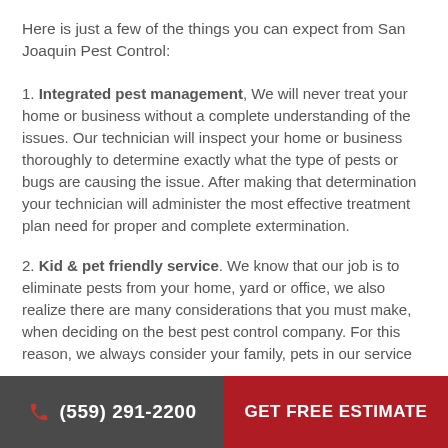Here is just a few of the things you can expect from San Joaquin Pest Control:
1. Integrated pest management, We will never treat your home or business without a complete understanding of the issues. Our technician will inspect your home or business thoroughly to determine exactly what the type of pests or bugs are causing the issue. After making that determination your technician will administer the most effective treatment plan need for proper and complete extermination.
2. Kid & pet friendly service. We know that our job is to eliminate pests from your home, yard or office, we also realize there are many considerations that you must make, when deciding on the best pest control company. For this reason, we always consider your family, pets in our service
(559) 291-2200   GET FREE ESTIMATE